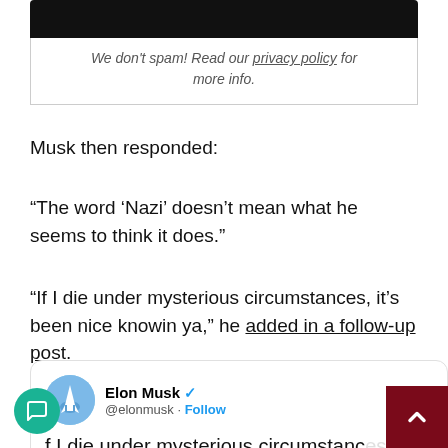[Figure (screenshot): Black bar at top of a newsletter subscription box]
We don't spam! Read our privacy policy for more info.
Musk then responded:
“The word ‘Nazi’ doesn’t mean what he seems to think it does.”
“If I die under mysterious circumstances, it’s been nice knowin ya,” he added in a follow-up post.
[Figure (screenshot): Tweet card from Elon Musk (@elonmusk) with Follow button and Twitter bird logo, showing tweet text: 'If I die under mysterious circumstances, it's been nice knowin ya']